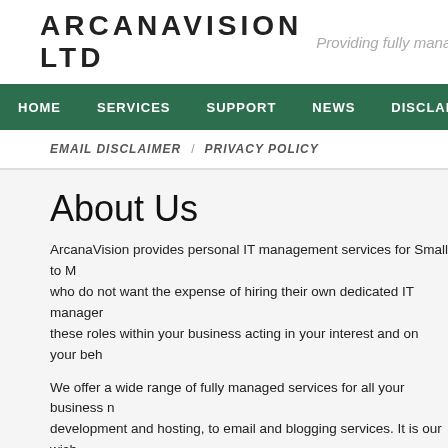ARCANAVISION LTD  Providing fully managed
HOME  SERVICES  SUPPORT  NEWS  DISCLAIMER  A
EMAIL DISCLAIMER  /  PRIVACY POLICY
About Us
ArcanaVision provides personal IT management services for Small to M... who do not want the expense of hiring their own dedicated IT manager... these roles within your business acting in your interest and on your beh...
We offer a wide range of fully managed services for all your business n... development and hosting, to email and blogging services. It is our wish... of contact for all your IT needs and issues. This empowers you to focus on your business needs and issues without the requirement to maintain an in depth technical skill set or chase multiple IT suppliers.
At ArcanaVision we keep things simple so we can
[Figure (photo): Close-up photo with warm orange and red tones, appearing to show electronic or mechanical components with light reflections.]